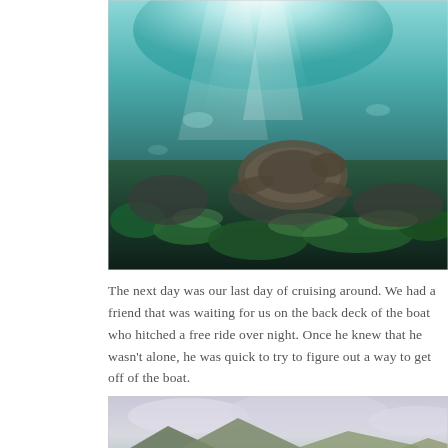[Figure (photo): Underwater photograph showing a sea turtle swimming near rocky, algae-covered seafloor with light filtering through turquoise water from above.]
The next day was our last day of cruising around.  We had a friend that was waiting for us on the back deck of the boat who hitched a free ride over night.  Once he knew that he wasn't alone, he was quick to try to figure out a way to get off of the boat.
[Figure (photo): Photograph taken from the back deck of a boat showing equipment, colorful gear bags (green, red, white), and a scenic view of volcanic hills and mountains under a cloudy sky over calm water.]